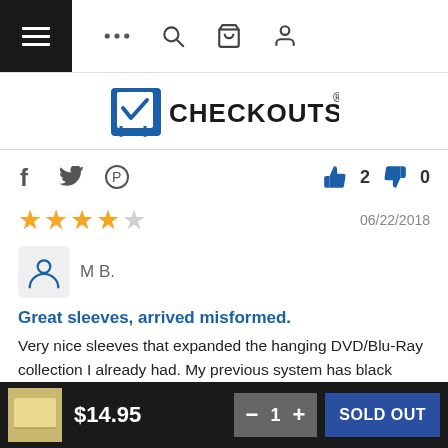CheckoutStore navigation bar with hamburger menu, ellipsis, search, cart, and user icons
[Figure (logo): CheckoutStore logo with shopping cart and checkmark icon]
Social share icons (Facebook, Twitter, Pinterest) | Thumbs up: 2  Thumbs down: 0
4 out of 5 stars  |  06/22/2018
M B.
Great sleeves, arrived misformed.
Very nice sleeves that expanded the hanging DVD/Blu-Ray collection I already had. My previous system has black sleeves but these white one are still ok. The plastic hanger bars are softer than my current set and they arrived misformed (curved on the
$14.95  −  1  +  SOLD OUT